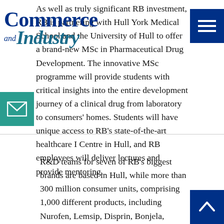[Figure (logo): Commerce and Industry magazine logo with blue serif text]
[Figure (other): Hamburger menu button, dark blue square with three white bars]
As well as truly significant RB investment, RB is partnering with Hull York Medical School and the University of Hull to offer a brand-new MSc in Pharmaceutical Drug Development. The innovative MSc programme will provide students with critical insights into the entire development journey of a clinical drug from laboratory to consumers' homes. Students will have unique access to RB's state-of-the-art healthcare I Centre in Hull, and RB employees will deliver lectures and provide mentoring.
[Figure (other): Email icon, teal square with white envelope icon]
R&D teams for seven of RB's biggest brands are based in Hull, while more than 300 million consumer units, comprising 1,000 different products, including Nurofen, Lemsip, Disprin, Bonjela, Dettol and E45, are manufactured at its city site each year. Over half of the company's Hull-based employees work in science, and almost half of the global R&D workforce is based in Hull.
[Figure (other): Back to top button, dark blue square with white upward chevron]